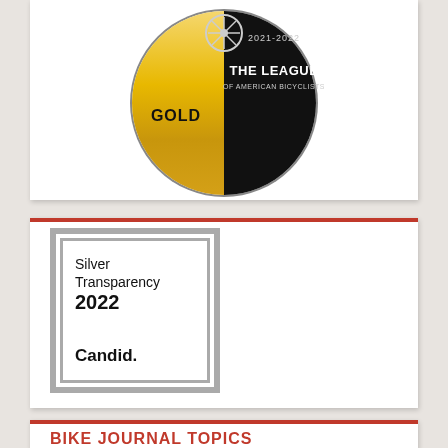[Figure (logo): Gold award badge from The League of American Bicyclists, 2021-2022. Left half shows gold color with text 'GOLD', right half is black with text 'THE LEAGUE OF AMERICAN BICYCLISTS'.]
[Figure (logo): Silver Transparency 2022 seal from Candid. Double-bordered square frame with text: 'Silver Transparency 2022' and 'Candid.']
BIKE JOURNAL TOPICS